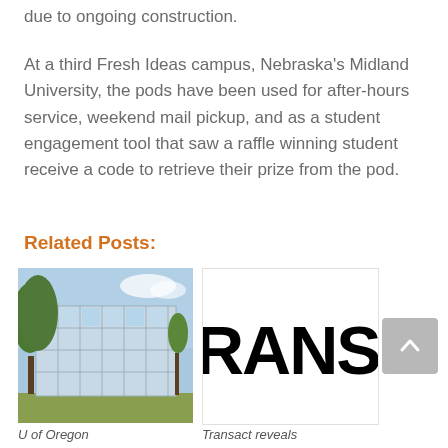due to ongoing construction.
At a third Fresh Ideas campus, Nebraska's Midland University, the pods have been used for after-hours service, weekend mail pickup, and as a student engagement tool that saw a raffle winning student receive a code to retrieve their prize from the pod.
Related Posts:
[Figure (photo): Exterior photo of a modern glass university building with trees in foreground under a partly cloudy sky.]
U of Oregon
[Figure (logo): Partial logo showing the text RANSAC in large bold black letters on white background.]
Transact reveals